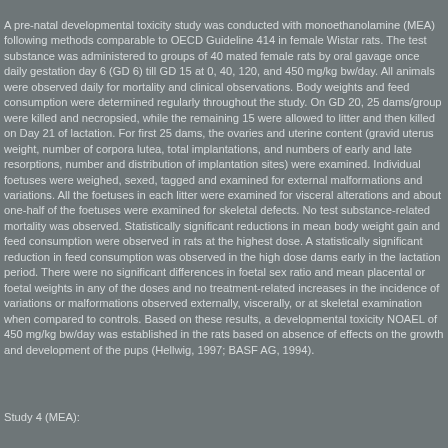A pre-natal developmental toxicity study was conducted with monoethanolamine (MEA) following methods comparable to OECD Guideline 414 in female Wistar rats. The test substance was administered to groups of 40 mated female rats by oral gavage once daily gestation day 6 (GD 6) till GD 15 at 0, 40, 120, and 450 mg/kg bw/day. All animals were observed daily for mortality and clinical observations. Body weights and feed consumption were determined regularly throughout the study. On GD 20, 25 dams/group were killed and necropsied, while the remaining 15 were allowed to litter and then killed on Day 21 of lactation. For first 25 dams, the ovaries and uterine content (gravid uterus weight, number of corpora lutea, total implantations, and numbers of early and late resorptions, number and distribution of implantation sites) were examined. Individual foetuses were weighed, sexed, tagged and examined for external malformations and variations. All the foetuses in each litter were examined for visceral alterations and about one-half of the foetuses were examined for skeletal defects. No test substance-related mortality was observed. Statistically significant reductions in mean body weight gain and feed consumption were observed in rats at the highest dose. A statistically significant reduction in feed consumption was observed in the high dose dams early in the lactation period. There were no significant differences in foetal sex ratio and mean placental or foetal weights in any of the doses and no treatment-related increases in the incidence of variations or malformations observed externally, viscerally, or at skeletal examination when compared to controls. Based on these results, a developmental toxicity NOAEL of 450 mg/kg bw/day was established in the rats based on absence of effects on the growth and development of the pups (Hellwig, 1997; BASF AG, 1994).
Study 4 (MEA):